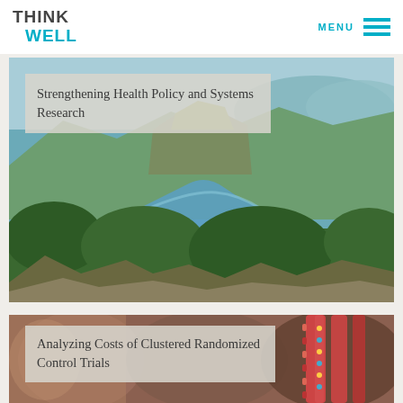THINK WELL | MENU
[Figure (photo): Aerial landscape photo of a river winding through lush green mountains under a blue sky]
Strengthening Health Policy and Systems Research
[Figure (photo): Close-up photo of colorful African beaded bracelets or crafts, blurred background]
Analyzing Costs of Clustered Randomized Control Trials